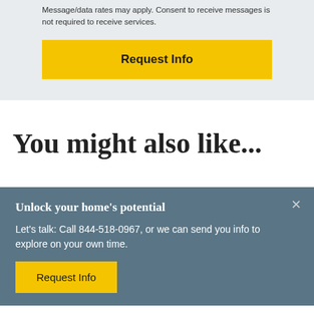Message/data rates may apply. Consent to receive messages is not required to receive services.
Request Info
You might also like...
Unlock your home's potential
Let's talk: Call 844-518-0967, or we can send you info to explore on your own time.
Request Info